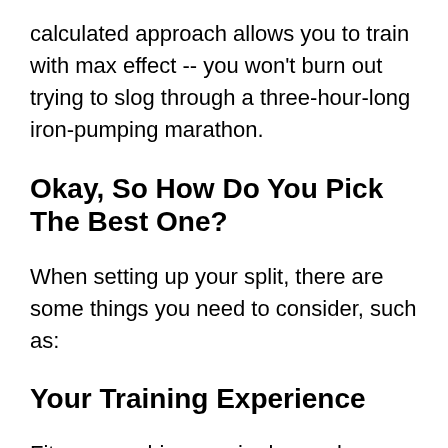calculated approach allows you to train with max effect -- you won't burn out trying to slog through a three-hour-long iron-pumping marathon.
Okay, So How Do You Pick The Best One?
When setting up your split, there are some things you need to consider, such as:
Your Training Experience
Fitness newbies require less volume and intensity in their training programs -- but often greater frequency -- than advanced athletes.
Your Fitness Goals